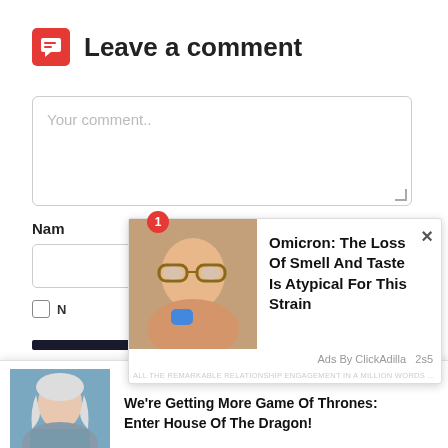Leave a comment
Your comment..
Name
Email *
N (Save my name...)
[Figure (screenshot): Ad popup 1: Omicron: The Loss Of Smell And Taste Is Atypical For This Strain. Ads By ClickAdilla 2s5]
[Figure (screenshot): Ad popup 2: We're Getting More Game Of Thrones: Enter House Of The Dragon! Ads By ClickAdilla 2s5]